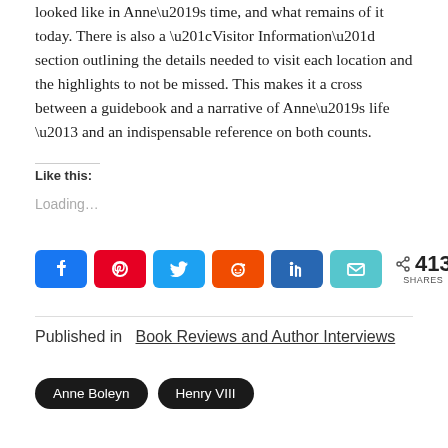looked like in Anne’s time, and what remains of it today. There is also a “Visitor Information” section outlining the details needed to visit each location and the highlights to not be missed. This makes it a cross between a guidebook and a narrative of Anne’s life – and an indispensable reference on both counts.
Like this:
Loading…
[Figure (infographic): Social share buttons: Facebook, Pinterest, Twitter, Reddit, LinkedIn, Email icons followed by share count showing 413 SHARES]
Published in   Book Reviews and Author Interviews
Anne Boleyn
Henry VIII